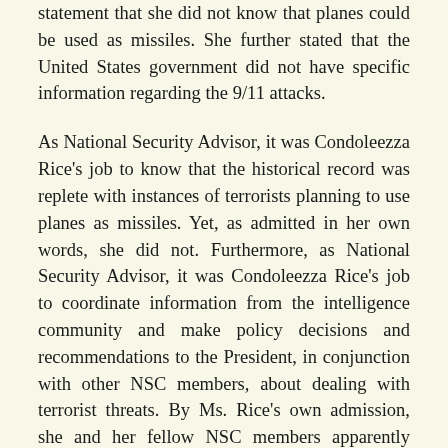statement that she did not know that planes could be used as missiles. She further stated that the United States government did not have specific information regarding the 9/11 attacks.
As National Security Advisor, it was Condoleezza Rice's job to know that the historical record was replete with instances of terrorists planning to use planes as missiles. Yet, as admitted in her own words, she did not. Furthermore, as National Security Advisor, it was Condoleezza Rice's job to coordinate information from the intelligence community and make policy decisions and recommendations to the President, in conjunction with other NSC members, about dealing with terrorist threats. By Ms. Rice's own admission, she and her fellow NSC members apparently failed in this